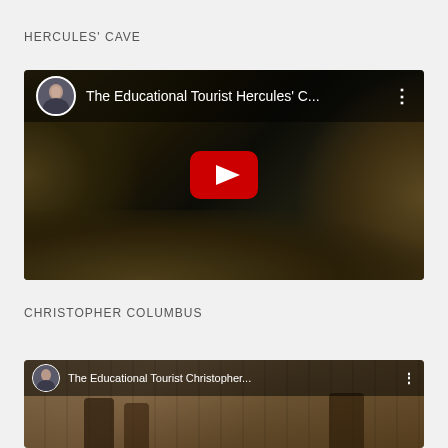HERCULES' CAVE
[Figure (screenshot): YouTube video thumbnail for 'The Educational Tourist Hercules' C...' showing cave interior with dark rocky walls and a YouTube play button in the center]
CHRISTOPHER COLUMBUS
[Figure (screenshot): YouTube video thumbnail for 'The Educational Tourist Christopher...' showing ornate church or cathedral interior with statues]